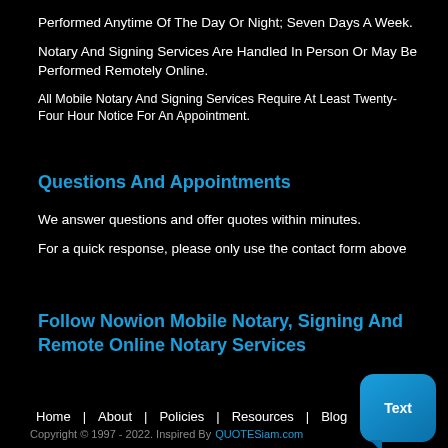Performed Anytime Of The Day Or Night; Seven Days A Week.
Notary And Signing Services Are Handled In Person Or May Be Performed Remotely Online.
All Mobile Notary And Signing Services Require At Least Twenty-Four Hour Notice For An Appointment.
Questions And Appointments
We answer questions and offer quotes within minutes.
For a quick response, please only use the contact form above
Follow Nowion Mobile Notary, Signing And Remote Online Notary Services
Home | About | Policies | Resources | Blog
Copyright © 1997 - 2022. Inspired By   QUOTESiam.com